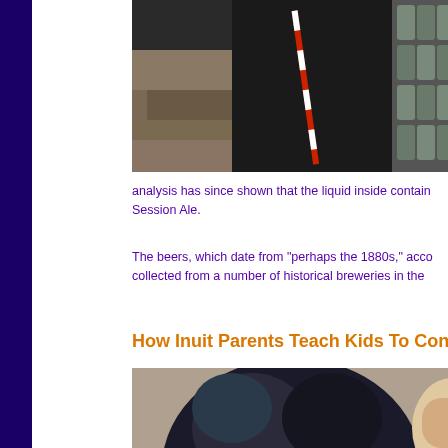[Figure (photo): Archaeological excavation photo showing dark soil with stone/ceramic artifacts arranged in rows, with a measuring stick/scale bar visible]
analysis has since shown that the liquid inside contain Session Ale.
The beers, which date from "perhaps the 1880s," acco collected from a number of historical breweries in the
How Inuit Parents Teach Kids To Con
[Figure (photo): Close-up photo of two children, one with dark hair in foreground, another child partially visible]